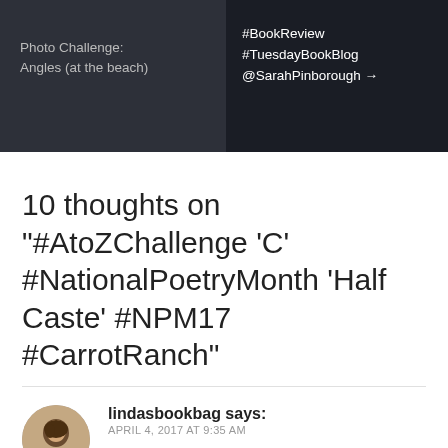Photo Challenge: Angles (at the beach)   #BookReview #TuesdayBookBlog @SarahPinborough →
10 thoughts on “#AtoZChallenge ‘C’ #NationalPoetryMonth ‘Half Caste’ #NPM17 #CarrotRanch”
lindasbookbag says:
APRIL 4, 2017 AT 9:35 AM
John Agard was the first ‘real’ writer I ever saw in the flesh and I’ve taught his poem so many times. I loved the new spin you’ve put on the idea.